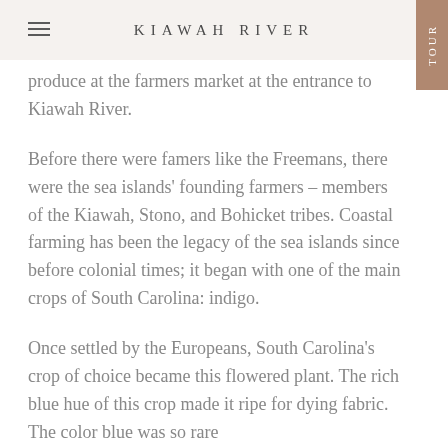KIAWAH RIVER
produce at the farmers market at the entrance to Kiawah River.
Before there were famers like the Freemans, there were the sea islands' founding farmers – members of the Kiawah, Stono, and Bohicket tribes. Coastal farming has been the legacy of the sea islands since before colonial times; it began with one of the main crops of South Carolina: indigo.
Once settled by the Europeans, South Carolina's crop of choice became this flowered plant. The rich blue hue of this crop made it ripe for dying fabric. The color blue was so rare